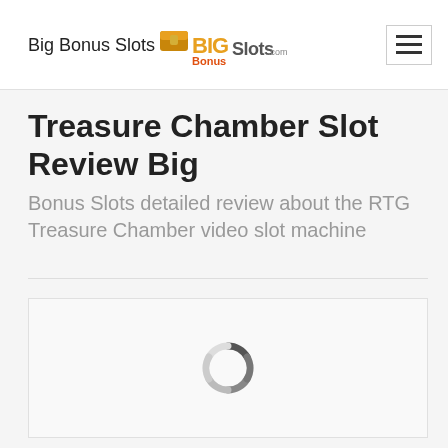Big Bonus Slots
Treasure Chamber Slot Review Big Bonus Slots detailed review about the RTG Treasure Chamber video slot machine
[Figure (screenshot): Loading spinner (circular progress indicator) inside a light gray content box]